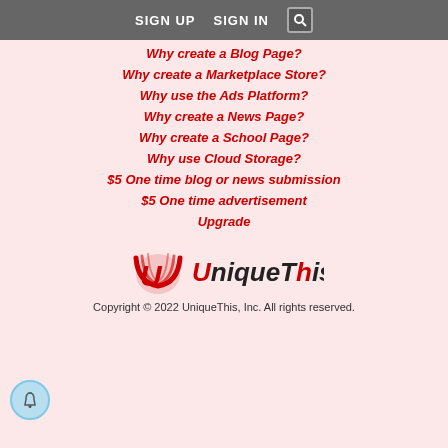SIGN UP   SIGN IN  [search]
Why create a Blog Page?
Why create a Marketplace Store?
Why use the Ads Platform?
Why create a News Page?
Why create a School Page?
Why use Cloud Storage?
$5 One time blog or news submission
$5 One time advertisement
Upgrade
[Figure (logo): UniqueThis logo with stylized red U graphic and black/red text]
Copyright © 2022 UniqueThis, Inc. All rights reserved.